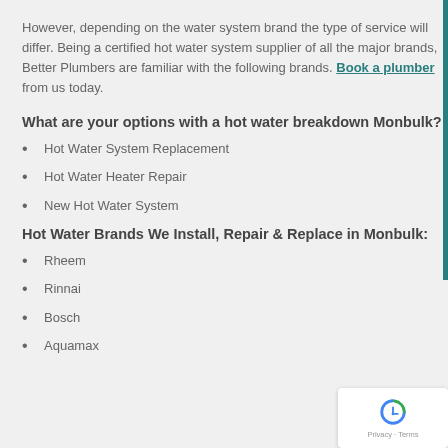However, depending on the water system brand the type of service will differ. Being a certified hot water system supplier of all the major brands, Better Plumbers are familiar with the following brands. Book a plumber from us today.
What are your options with a hot water breakdown Monbulk?
Hot Water System Replacement
Hot Water Heater Repair
New Hot Water System
Hot Water Brands We Install, Repair & Replace in Monbulk:
Rheem
Rinnai
Bosch
Aquamax